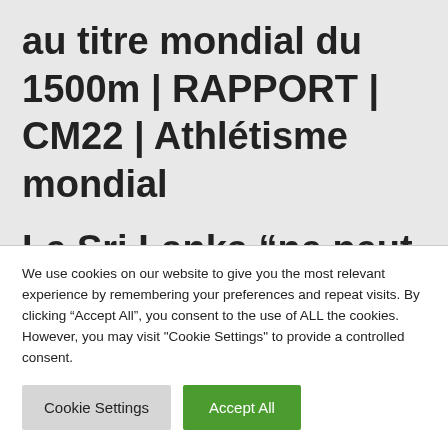au titre mondial du 1500m | RAPPORT | CM22 | Athlétisme mondial
Le Sri Lanka “ne peut pas sortir de la crise sans la Chine”, selon
We use cookies on our website to give you the most relevant experience by remembering your preferences and repeat visits. By clicking “Accept All”, you consent to the use of ALL the cookies. However, you may visit "Cookie Settings" to provide a controlled consent.